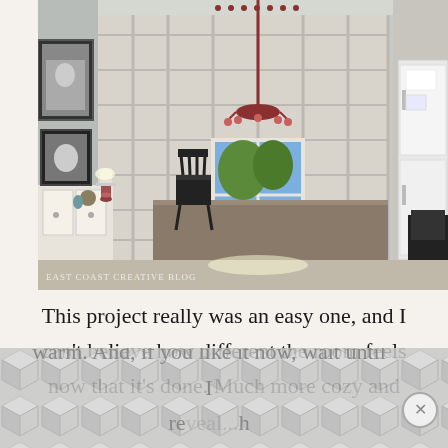[Figure (photo): Interior room photo showing a dining room with floor-to-ceiling built-in bookshelves along the back wall, a large wooden dining table in the center, a black Windsor chair, a red chandelier hanging from the ceiling, a window in the center background with natural light coming through, white sideboard/buffet on the left with framed pictures above it, and a refrigerator visible on the right. Text watermark 'East Coast Creative Blog' in the lower left corner.]
This project really was an easy one, and I can't believe how different the room feels now that it's done. Much more cozy and warm. And, if you like it now, wait until I reveal...